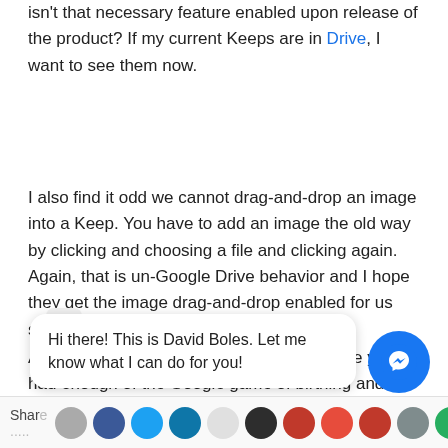isn't that necessary feature enabled upon release of the product?  If my current Keeps are in Drive, I want to see them now.
I also find it odd we cannot drag-and-drop an image into a Keep.  You have to add an image the old way by clicking and choosing a file and clicking again.  Again, that is un-Google Drive behavior and I hope they get the image drag-and-drop enabled for us soon.
Are you going to use Google Keep?  Or have you had enough of the Google game of birthing and killing?
[Figure (screenshot): Facebook Messenger chat widget with message 'Hi there! This is David Boles. Let me know what I can do for you!' and messenger button]
Share .....